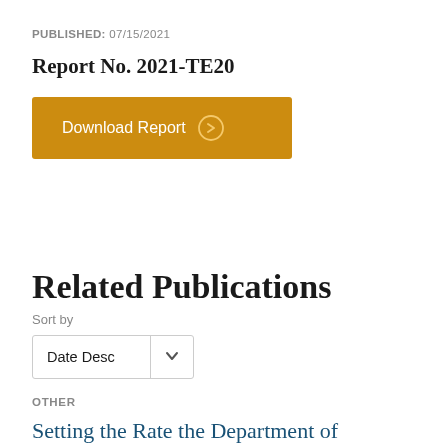PUBLISHED: 07/15/2021
Report No. 2021-TE20
[Figure (other): Orange download button labeled 'Download Report' with a right-arrow circle icon]
Related Publications
Sort by
Date Desc
OTHER
Setting the Rate the Department of